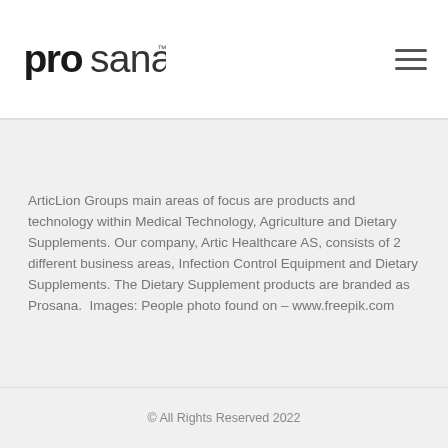[Figure (logo): Prosana logo with bold lowercase 'pro' and lighter 'sana' text with TM mark]
ArticLion Groups main areas of focus are products and technology within Medical Technology, Agriculture and Dietary Supplements. Our company, Artic Healthcare AS, consists of 2 different business areas, Infection Control Equipment and Dietary Supplements. The Dietary Supplement products are branded as Prosana.  Images: People photo found on – www.freepik.com
© All Rights Reserved 2022